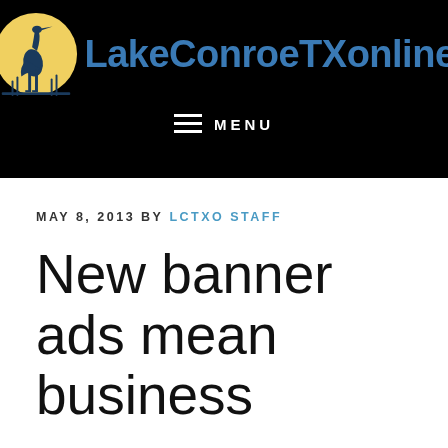[Figure (logo): LakeConroeTXonline website header logo with heron bird silhouette in front of a yellow moon circle, on black background, with site name in blue bold text]
≡  MENU
MAY 8, 2013 BY LCTXO STAFF
New banner ads mean business